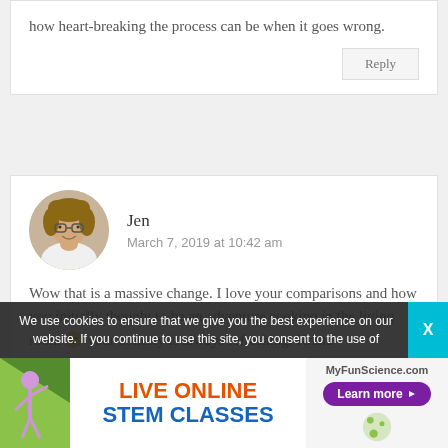how heart-breaking the process can be when it goes wrong.
Reply
Jen
March 7, 2019 at 10:42 am
Wow that is a massive change. I love your comparisons and how you initially thought to be an adventure cooking in the living room 🙂 your honesty is always refreshing. Krista
We use cookies to ensure that we give you the best experience on our website. If you continue to use this site, you consent to the use of
[Figure (infographic): MyFunScience.com advertisement banner: LIVE ONLINE STEM CLASSES with Learn more button and decorative figure illustration]